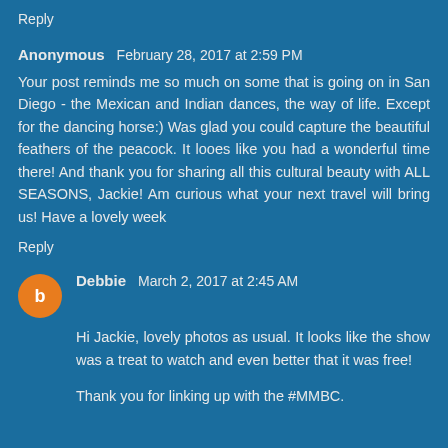Reply
Anonymous  February 28, 2017 at 2:59 PM
Your post reminds me so much on some that is going on in San Diego - the Mexican and Indian dances, the way of life. Except for the dancing horse:) Was glad you could capture the beautiful feathers of the peacock. It looes like you had a wonderful time there! And thank you for sharing all this cultural beauty with ALL SEASONS, Jackie! Am curious what your next travel will bring us! Have a lovely week
Reply
Debbie  March 2, 2017 at 2:45 AM
Hi Jackie, lovely photos as usual. It looks like the show was a treat to watch and even better that it was free!
Thank you for linking up with the #MMBC.